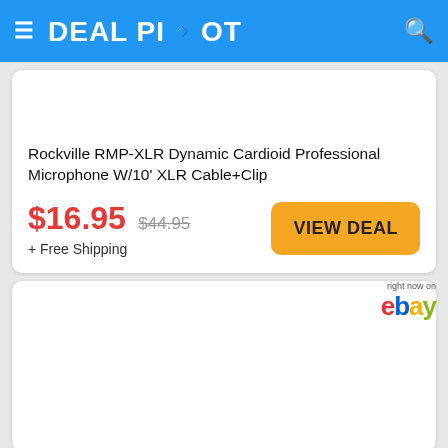DEAL PILOT
Rockville RMP-XLR Dynamic Cardioid Professional Microphone W/10' XLR Cable+Clip
$16.95  $44.95
+ Free Shipping
VIEW DEAL
[Figure (logo): eBay logo with 'right now on' text above]